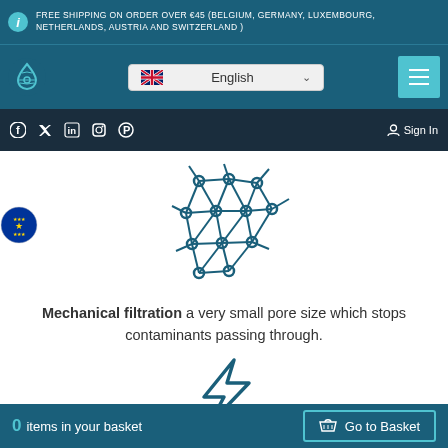FREE SHIPPING ON ORDER OVER €45 (BELGIUM, GERMANY, LUXEMBOURG, NETHERLANDS, AUSTRIA AND SWITZERLAND )
[Figure (screenshot): Navigation bar with water drop logo, English language selector dropdown, and hamburger menu button]
[Figure (screenshot): Social media icons bar with Facebook, Twitter, LinkedIn, Instagram, Pinterest icons and Sign In button]
[Figure (illustration): Mechanical filtration diagram showing a mesh/grid network with nodes and interconnections in teal/blue color]
Mechanical filtration a very small pore size which stops contaminants passing through.
[Figure (illustration): Lightning bolt icon in teal/blue color, partially visible at bottom of page]
0 items in your basket   Go to Basket